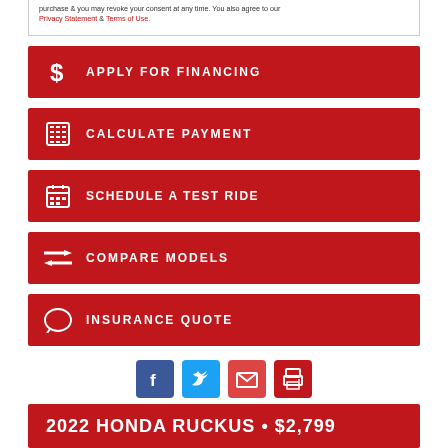purchase & you may revoke your consent at any time. You also agree to our Privacy Statement & Terms of Use.
APPLY FOR FINANCING
CALCULATE PAYMENT
SCHEDULE A TEST RIDE
COMPARE MODELS
INSURANCE QUOTE
[Figure (other): Social media share icons: Facebook, Twitter, Email, Print]
2022 HONDA RUCKUS • $2,799